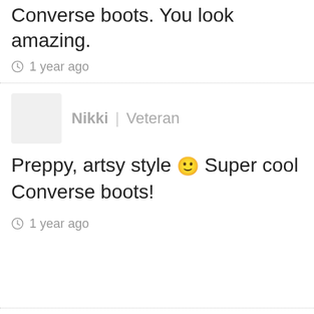Converse boots. You look amazing.
1 year ago
Nikki | Veteran
Preppy, artsy style 🙂 Super cool Converse boots!
1 year ago